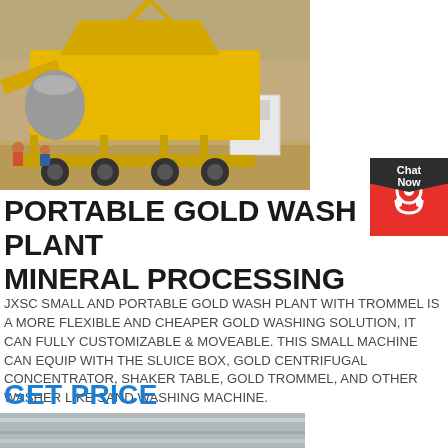[Figure (photo): Yellow portable gold wash plant with trommel on a trailer at a mining site, sandy/rocky terrain, workers visible in background]
PORTABLE GOLD WASH PLANT MINERAL PROCESSING
JXSC SMALL AND PORTABLE GOLD WASH PLANT WITH TROMMEL IS A MORE FLEXIBLE AND CHEAPER GOLD WASHING SOLUTION, IT CAN FULLY CUSTOMIZABLE & MOVEABLE. THIS SMALL MACHINE CAN EQUIP WITH THE SLUICE BOX, GOLD CENTRIFUGAL CONCENTRATOR, SHAKER TABLE, GOLD TROMMEL, AND OTHER WASHER LIKE SAND WASHING MACHINE.
GET PRICE
[Figure (photo): Partial view of equipment, grey/silver colored surface, bottom of page]